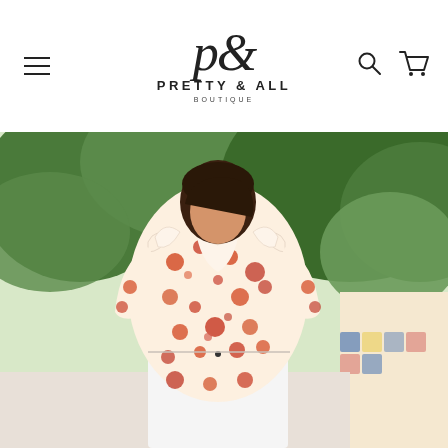[Figure (logo): Pretty & All Boutique logo with stylized script ampersand, text 'PRETTY & ALL' and 'BOUTIQUE' below]
[Figure (photo): Woman wearing a cream and coral floral print blouse with V-neckline and ruffled details, paired with white high-waisted pants, standing outdoors with green foliage in background]